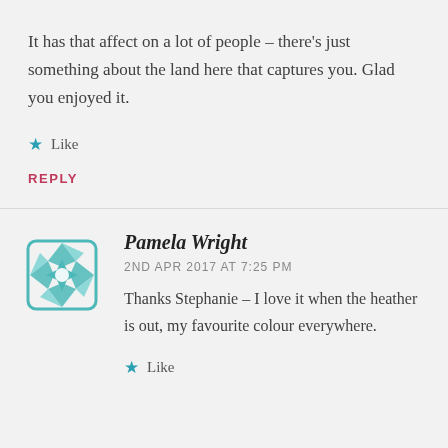It has that affect on a lot of people – there's just something about the land here that captures you. Glad you enjoyed it.
★ Like
REPLY
Pamela Wright
2ND APR 2017 AT 7:25 PM
Thanks Stephanie – I love it when the heather is out, my favourite colour everywhere.
★ Like